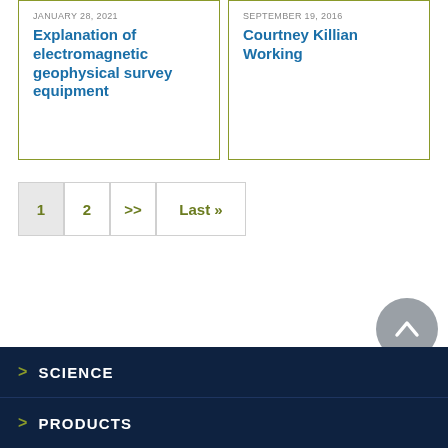JANUARY 28, 2021
Explanation of electromagnetic geophysical survey equipment
SEPTEMBER 19, 2016
Courtney Killian Working
1
2
>>
Last >>
> SCIENCE
> PRODUCTS